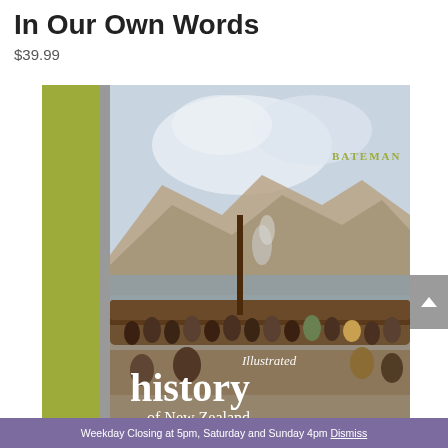In Our Own Words
$39.99
[Figure (photo): Book cover of 'Illustrated History of New Zealand' published by Bateman. The cover shows a historical painting of a Maori gathering near large canoes on the waterfront, with mountains in the background. The spine of the book is yellow-green, and the cover text reads 'Illustrated history of New Zealand' in white serif font over the painting.]
Weekday Closing at 5pm, Saturday and Sunday 4pm Dismiss